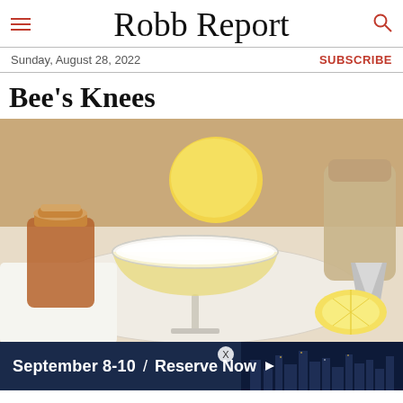Robb Report
Sunday, August 28, 2022 | SUBSCRIBE
Bee's Knees
[Figure (photo): A Bee's Knees cocktail in a coupe glass on a marble surface, surrounded by a honey jar, lemons, a bar jigger, and cocktail shaker. The drink is pale golden yellow with a frothy white top.]
[Figure (screenshot): Advertisement banner: September 8-10 / Reserve Now with arrow, showing a nighttime city skyline on dark navy background.]